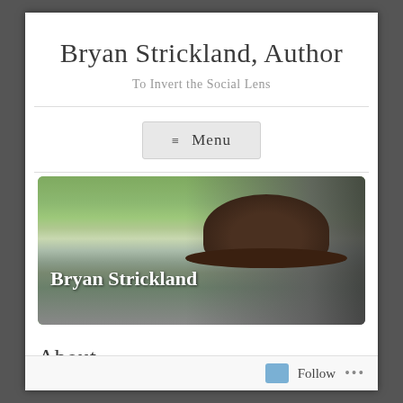Bryan Strickland, Author
To Invert the Social Lens
≡ Menu
[Figure (photo): Banner photo of Bryan Strickland wearing a wide-brim hat, bearded, with a marshy green landscape in the background. Text overlay reads 'Bryan Strickland'.]
About
Follow ...